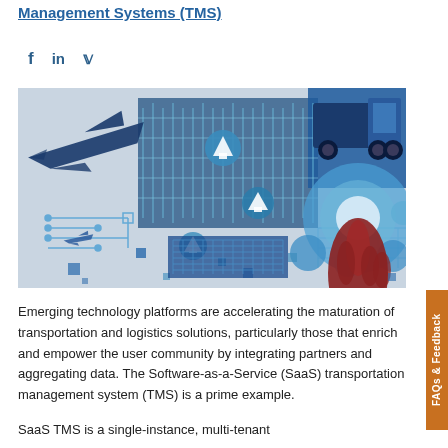Management Systems (TMS)
[Figure (illustration): Technology and logistics illustration featuring an airplane, truck, circuit board patterns, digital arrows, and a hand pointing/touching, all in blue and red tones representing transportation management systems.]
Emerging technology platforms are accelerating the maturation of transportation and logistics solutions, particularly those that enrich and empower the user community by integrating partners and aggregating data. The Software-as-a-Service (SaaS) transportation management system (TMS) is a prime example.
SaaS TMS is a single-instance, multi-tenant